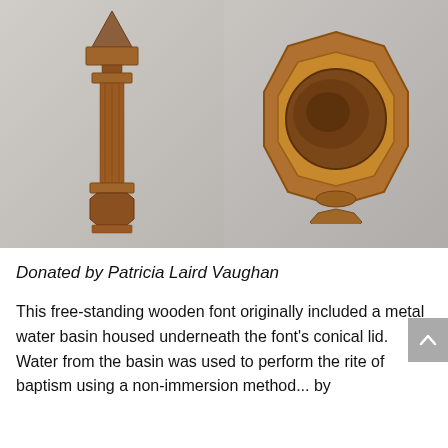[Figure (photo): Two photographs of a wooden baptismal font. Left image shows the full height of the free-standing wooden font with a conical/pointed lid and octagonal base, displayed against a light gray background. Right image shows a top-down view of the font basin — an octagonal wooden top with a circular bowl inset, on a pedestal base against a gray background.]
Donated by Patricia Laird Vaughan
This free-standing wooden font originally included a metal water basin housed underneath the font's conical lid. Water from the basin was used to perform the rite of baptism using a non-immersion method... by